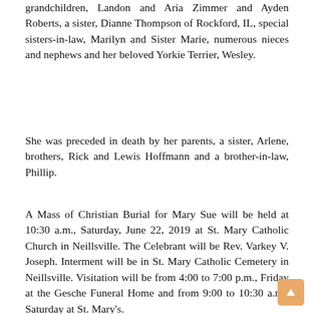grandchildren, Landon and Aria Zimmer and Ayden Roberts, a sister, Dianne Thompson of Rockford, IL, special sisters-in-law, Marilyn and Sister Marie, numerous nieces and nephews and her beloved Yorkie Terrier, Wesley.
She was preceded in death by her parents, a sister, Arlene, brothers, Rick and Lewis Hoffmann and a brother-in-law, Phillip.
A Mass of Christian Burial for Mary Sue will be held at 10:30 a.m., Saturday, June 22, 2019 at St. Mary Catholic Church in Neillsville. The Celebrant will be Rev. Varkey V. Joseph. Interment will be in St. Mary Catholic Cemetery in Neillsville. Visitation will be from 4:00 to 7:00 p.m., Friday at the Gesche Funeral Home and from 9:00 to 10:30 a.m., Saturday at St. Mary's.